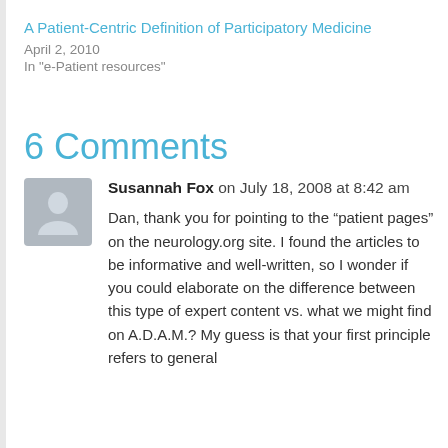A Patient-Centric Definition of Participatory Medicine
April 2, 2010
In "e-Patient resources"
6 Comments
Susannah Fox on July 18, 2008 at 8:42 am
Dan, thank you for pointing to the “patient pages” on the neurology.org site. I found the articles to be informative and well-written, so I wonder if you could elaborate on the difference between this type of expert content vs. what we might find on A.D.A.M.? My guess is that your first principle refers to general